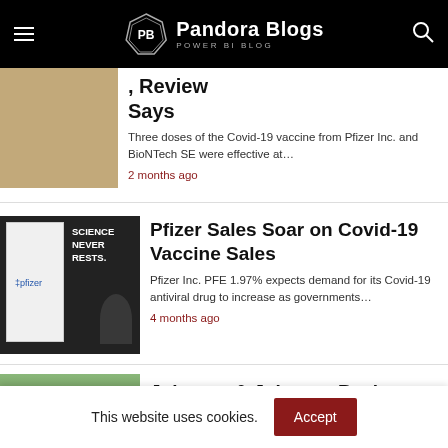Pandora Blogs — POWER BI BLOG
, Review Says
Three doses of the Covid-19 vaccine from Pfizer Inc. and BioNTech SE were effective at…
2 months ago
[Figure (photo): Pfizer sign and person with Science Never Rests text]
Pfizer Sales Soar on Covid-19 Vaccine Sales
Pfizer Inc. PFE 1.97% expects demand for its Covid-19 antiviral drug to increase as governments…
4 months ago
[Figure (photo): Johnson & Johnson building exterior]
Johnson & Johnson Backs
This website uses cookies.